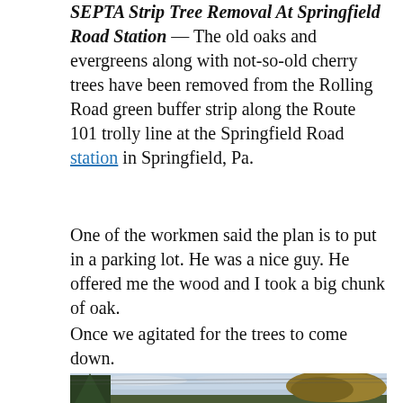SEPTA Strip Tree Removal At Springfield Road Station — The old oaks and evergreens along with not-so-old cherry trees have been removed from the Rolling Road green buffer strip along the Route 101 trolly line at the Springfield Road station in Springfield, Pa.
One of the workmen said the plan is to put in a parking lot. He was a nice guy. He offered me the wood and I took a big chunk of oak.
Once we agitated for the trees to come down. The dead ones anyway.
[Figure (photo): Outdoor photograph showing trees against an overcast sky, with an evergreen tree on the left and a deciduous tree with autumn foliage on the right.]